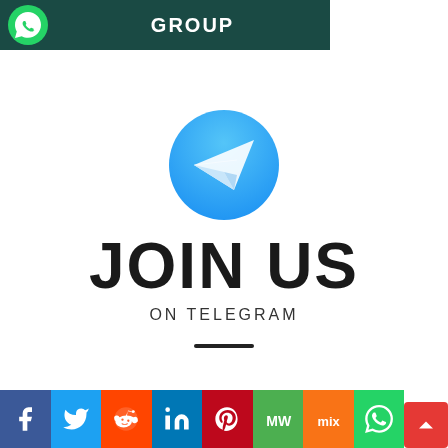[Figure (logo): WhatsApp Group banner with dark teal background and GROUP text in white bold letters]
[Figure (logo): Telegram logo circle with paper plane icon, JOIN US ON TELEGRAM text below, and horizontal divider]
[Figure (infographic): Social media sharing bar with icons: Facebook, Twitter, Reddit, LinkedIn, Pinterest, MeWe, Mix, WhatsApp, and scroll-to-top button]